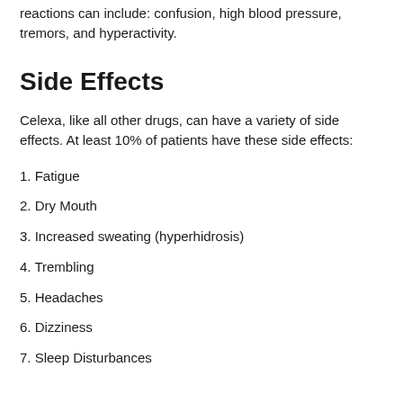reactions can include: confusion, high blood pressure, tremors, and hyperactivity.
Side Effects
Celexa, like all other drugs, can have a variety of side effects. At least 10% of patients have these side effects:
1. Fatigue
2. Dry Mouth
3. Increased sweating (hyperhidrosis)
4. Trembling
5. Headaches
6. Dizziness
7. Sleep Disturbances